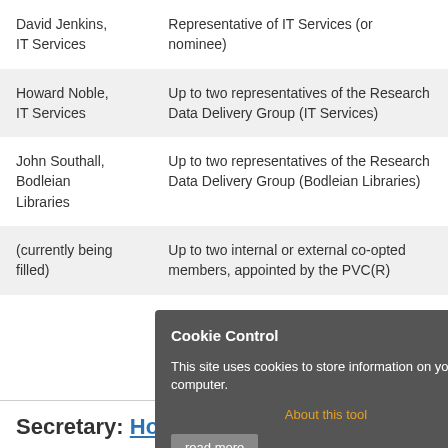| David Jenkins, IT Services | Representative of IT Services (or nominee) |
| Howard Noble, IT Services | Up to two representatives of the Research Data Delivery Group (IT Services) |
| John Southall, Bodleian Libraries | Up to two representatives of the Research Data Delivery Group (Bodleian Libraries) |
| (currently being filled) | Up to two internal or external co-opted members, appointed by the PVC(R) |
Secretary: Howard Noble, IT Services